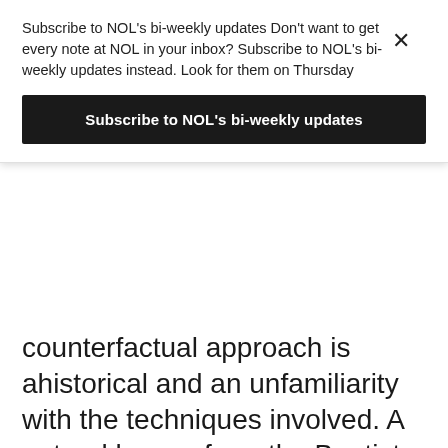Subscribe to NOL's bi-weekly updates Don't want to get every note at NOL in your inbox? Subscribe to NOL's bi-weekly updates instead. Look for them on Thursday
Subscribe to NOL's bi-weekly updates
counterfactual approach is ahistorical and an unfamiliarity with the techniques involved. A natural lesson from the Baptist affair is that historians should become more familiar with the powerful tools social scientists have to assess counterfactual questions. Taking counterfactuals seriously is a way to make progress on uncovering answers to important historical questions. But there is